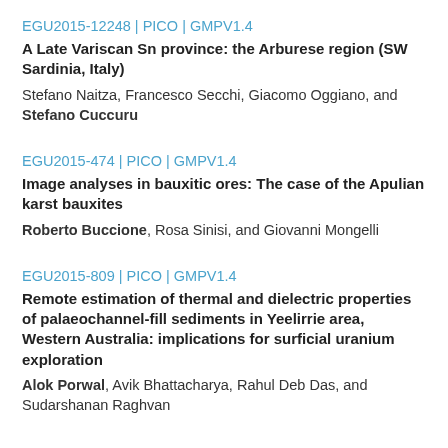EGU2015-12248 | PICO | GMPV1.4
A Late Variscan Sn province: the Arburese region (SW Sardinia, Italy)
Stefano Naitza, Francesco Secchi, Giacomo Oggiano, and Stefano Cuccuru
EGU2015-474 | PICO | GMPV1.4
Image analyses in bauxitic ores: The case of the Apulian karst bauxites
Roberto Buccione, Rosa Sinisi, and Giovanni Mongelli
EGU2015-809 | PICO | GMPV1.4
Remote estimation of thermal and dielectric properties of palaeochannel-fill sediments in Yeelirrie area, Western Australia: implications for surficial uranium exploration
Alok Porwal, Avik Bhattacharya, Rahul Deb Das, and Sudarshanan Raghvan